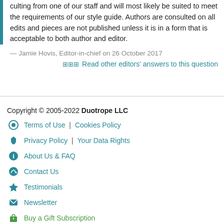culting from one of our staff and will most likely be suited to meet the requirements of our style guide. Authors are consulted on all edits and pieces are not published unless it is in a form that is acceptable to both author and editor.
— Jamie Hovis, Editor-in-chief on 26 October 2017
⊞ Read other editors' answers to this question
Copyright © 2005-2022 Duotrope LLC
Terms of Use | Cookies Policy
Privacy Policy | Your Data Rights
About Us & FAQ
Contact Us
Testimonials
Newsletter
Buy a Gift Subscription
Group Memberships
Contest Sponsorship
Duosuma Submission Manager